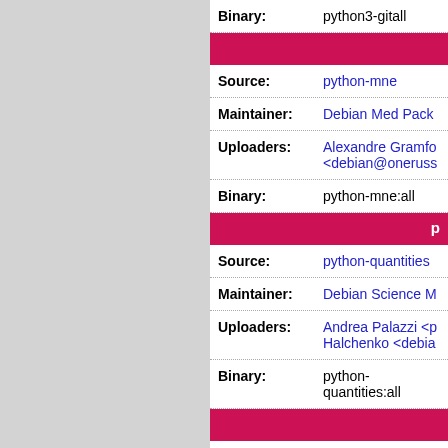| Field | Value |
| --- | --- |
| Binary: | python3-gitall |
| Source: | python-mne |
| Maintainer: | Debian Med Pack |
| Uploaders: | Alexandre Gramfo <debian@oneruss |
| Binary: | python-mne:all |
| Source: | python-quantities |
| Maintainer: | Debian Science M |
| Uploaders: | Andrea Palazzi <p Halchenko <debia |
| Binary: | python-quantities:all |
| Source: | python-smmap |